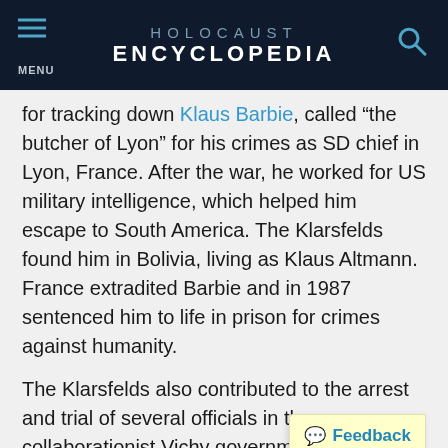HOLOCAUST ENCYCLOPEDIA
for tracking down Klaus Barbie, called “the butcher of Lyon” for his crimes as SD chief in Lyon, France. After the war, he worked for US military intelligence, which helped him escape to South America. The Klarsfelds found him in Bolivia, living as Klaus Altmann. France extradited Barbie and in 1987 sentenced him to life in prison for crimes against humanity.
The Klarsfelds also contributed to the arrest and trial of several officials in the collaborationist Vichy government who were responsible for the deportation and Jews. These cases caused the French to